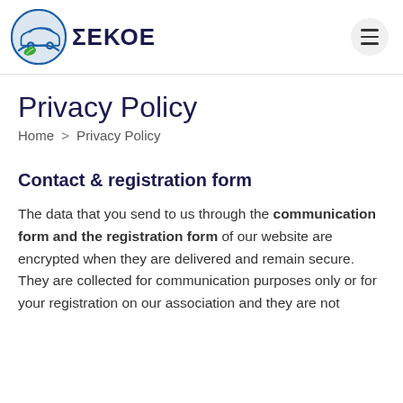ΣΕΚΟΕ
Privacy Policy
Home > Privacy Policy
Contact & registration form
The data that you send to us through the communication form and the registration form of our website are encrypted when they are delivered and remain secure. They are collected for communication purposes only or for your registration on our association and they are not